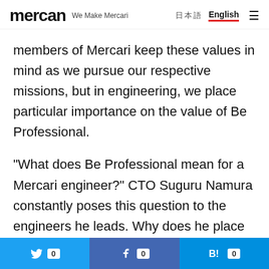mercan  We Make Mercari  日本語  English
members of Mercari keep these values in mind as we pursue our respective missions, but in engineering, we place particular importance on the value of Be Professional.
“What does Be Professional mean for a Mercari engineer?” CTO Suguru Namura constantly poses this question to the engineers he leads. Why does he place such emphasis on being professional? Why does he consider it a guiding principle for engineers? We interviewed Namura about the Mercari engineer mindset and his
Twitter 0  Facebook 0  Hatena 0